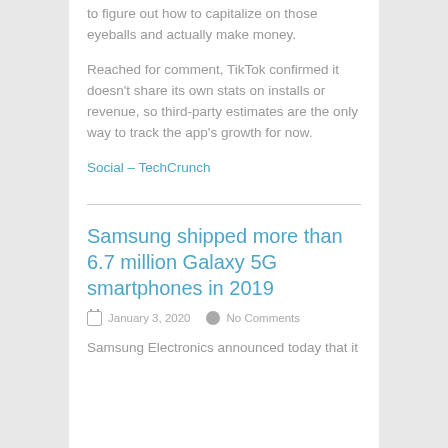to figure out how to capitalize on those eyeballs and actually make money.
Reached for comment, TikTok confirmed it doesn't share its own stats on installs or revenue, so third-party estimates are the only way to track the app's growth for now.
Social – TechCrunch
Samsung shipped more than 6.7 million Galaxy 5G smartphones in 2019
January 3, 2020   No Comments
Samsung Electronics announced today that it